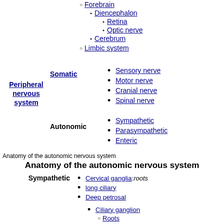Forebrain
Diencephalon
Retina
Optic nerve
Cerebrum
Limbic system
Peripheral nervous system
Somatic
Sensory nerve
Motor nerve
Cranial nerve
Spinal nerve
Autonomic
Sympathetic
Parasympathetic
Enteric
Anatomy of the autonomic nervous system
Anatomy of the autonomic nervous system
Sympathetic
Cervical ganglia: roots
long ciliary
Deep petrosal
Ciliary ganglion
Roots